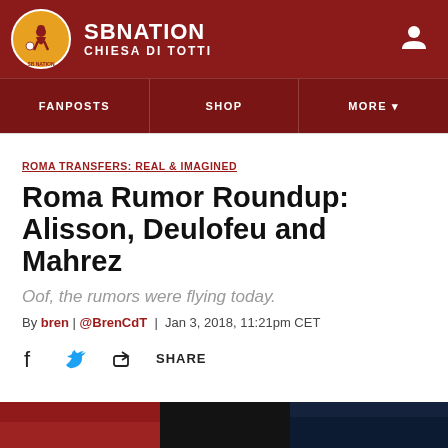SBNATION CHIESA DI TOTTI
FANPOSTS | SHOP | MORE
ROMA TRANSFERS: REAL & IMAGINED
Roma Rumor Roundup: Alisson, Deulofeu and Mahrez
Oof, the rumors were flying today.
By bren | @BrenCdT | Jan 3, 2018, 11:21pm CET
SHARE